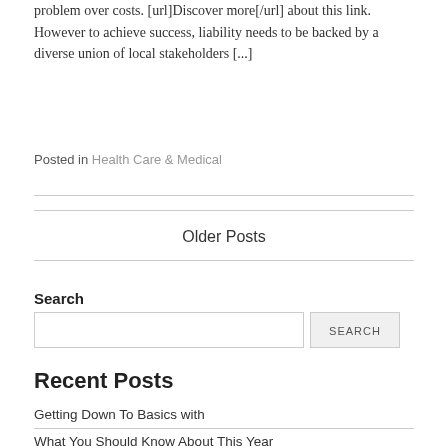problem over costs. [url]Discover more[/url] about this link. However to achieve success, liability needs to be backed by a diverse union of local stakeholders [...]
Posted in Health Care & Medical
Older Posts
Search
Recent Posts
Getting Down To Basics with
What You Should Know About This Year